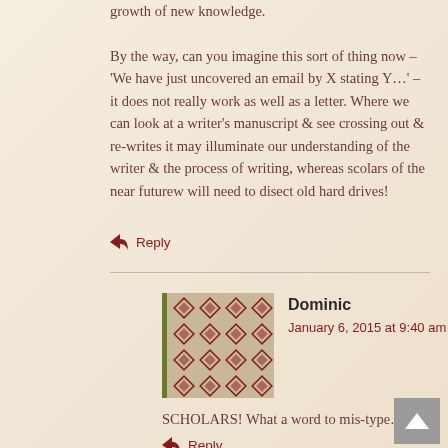growth of new knowledge.
By the way, can you imagine this sort of thing now – ‘We have just uncovered an email by X stating Y…’ – it does not really work as well as a letter. Where we can look at a writer's manuscript & see crossing out & re-writes it may illuminate our understanding of the writer & the process of writing, whereas scolars of the near futurew will need to disect old hard drives!
Reply
Dominic
January 6, 2015 at 9:40 am
SCHOLARS! What a word to mis-type…
Reply